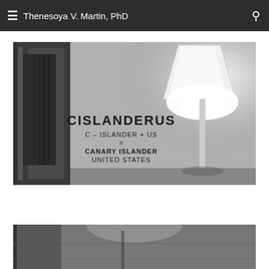Thenesoya V. Martin, PhD
[Figure (photo): Black and white photograph of a room interior with a bright floor lamp and text on the wall reading: CISLANDERUS / C – ISLANDER + US / = / CANARY ISLANDER / UNITED STATES]
[Figure (photo): Black and white photograph partially visible at the bottom of the page, showing a room ceiling/interior view]